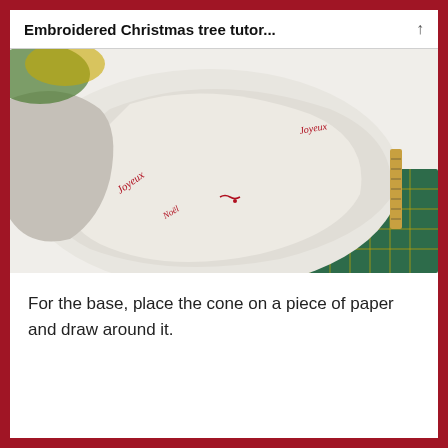Embroidered Christmas tree tutor...
[Figure (photo): A white fabric cone with red embroidered script text on it, placed on a green cutting mat. The cone appears to be a Christmas tree base with cursive red embroidery. A ruler and crafting supplies are visible in the background.]
For the base, place the cone on a piece of paper and draw around it.